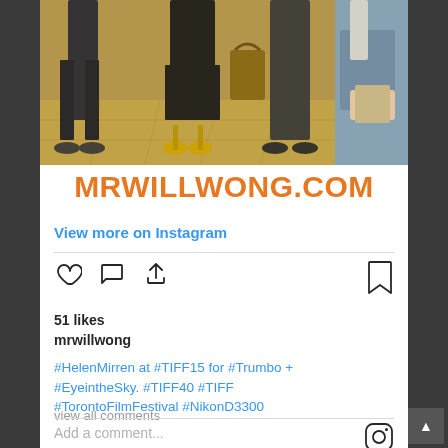[Figure (photo): Photo of people at a film festival event, taken from a low angle showing legs and lower body, appears to be an indoor venue with tiled floor. People wearing various outfits including jeans, black skirt, and yellow heels. A person on the right appears to be holding a tablet/phone.]
MRWILLWONG.COM
View more on Instagram
51 likes
mrwillwong
#HelenMirren at #TIFF15 for #Trumbo + #EyeintheSky. #TIFF40 #TIFF #TorontoFilmFestival #NikonD3300
view all comments
Add a comment...